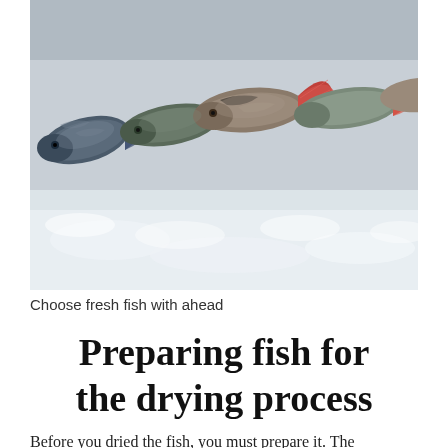[Figure (photo): Multiple fresh whole fish displayed on ice, viewed from the tail end. The fish show colorful fins — blue, red, and orange tails — with silvery-grey scaly bodies. Ice is visible beneath and around the fish.]
Choose fresh fish with ahead
Preparing fish for the drying process
Before you dried the fish, you must prepare it. The